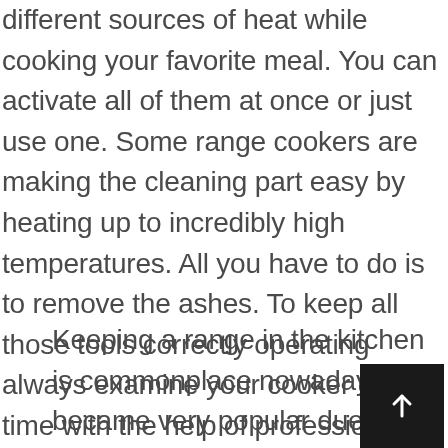different sources of heat while cooking your favorite meal. You can activate all of them at once or just use one. Some range cookers are making the cleaning part easy by heating up to incredibly high temperatures. All you have to do is to remove the ashes. To keep all those tools correctly operating always examine your cooker on time with the help of professionals from San Diego Viking Range Repair.
Keeping a range in the kitchen is commonplace nowadays. It became very popular due to its capability of combining two different features into one single appliance. You can bake in